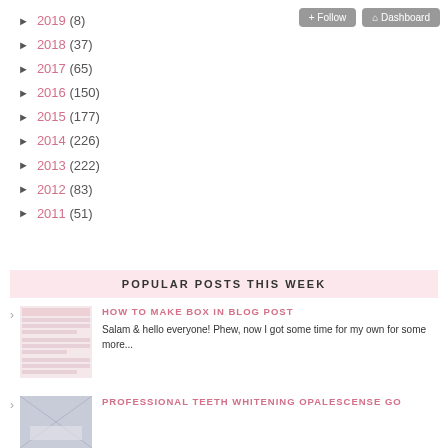► 2019 (8)
► 2018 (37)
► 2017 (65)
► 2016 (150)
► 2015 (177)
► 2014 (226)
► 2013 (222)
► 2012 (83)
► 2011 (51)
POPULAR POSTS THIS WEEK
[Figure (screenshot): Thumbnail of a blog post about making boxes in blog posts]
HOW TO MAKE BOX IN BLOG POST
Salam & hello everyone! Phew, now I got some time for my own for some more...
[Figure (photo): Thumbnail of professional teeth whitening opalescense post]
PROFESSIONAL TEETH WHITENING OPALESCENSE GO